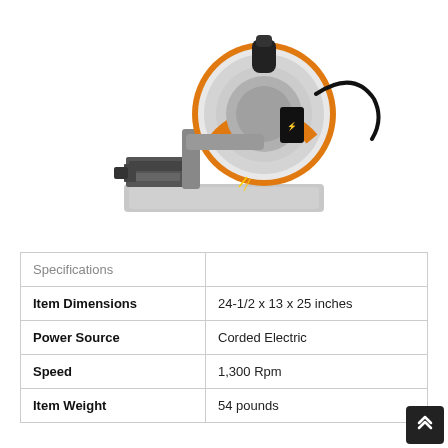[Figure (photo): Product photo of a metal cut-off chop saw with gray body, orange blade guard, and black handle, mounted on a gray base with a vise mechanism on the left side.]
| Specifications |  |
| --- | --- |
| Item Dimensions | 24-1/2 x 13 x 25 inches |
| Power Source | Corded Electric |
| Speed | 1,300 Rpm |
| Item Weight | 54 pounds |